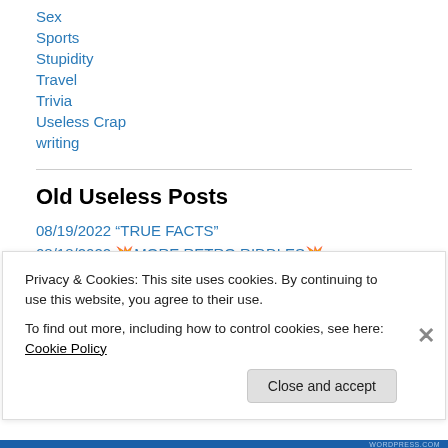Sex
Sports
Stupidity
Travel
Trivia
Useless Crap
writing
Old Useless Posts
08/19/2022 “TRUE FACTS”
08/18/2022 💥MORE RETRO RIDDLES💥
08/17/2022 💥ODD FACTS💥
Privacy & Cookies: This site uses cookies. By continuing to use this website, you agree to their use.
To find out more, including how to control cookies, see here: Cookie Policy
Close and accept